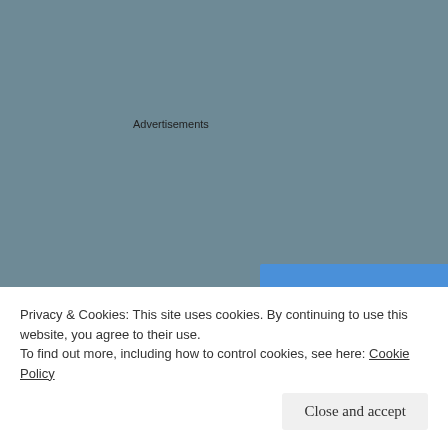Advertisements
[Figure (illustration): Pressable advertisement banner with blue background. Text reads: 'When your WordPress site needs speed, you need' followed by the Pressable logo (P icon) and brand name 'Pressable'.]
My mom peels and mashes. She measures and then freezes
Privacy & Cookies: This site uses cookies. By continuing to use this website, you agree to their use.
To find out more, including how to control cookies, see here: Cookie Policy
Close and accept
To use, thaw out and snip off one end